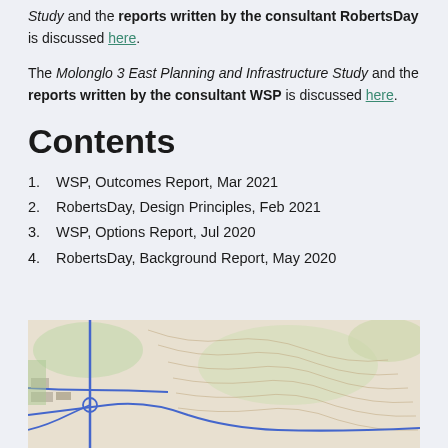Study and the reports written by the consultant RobertsDay is discussed here.
The Molonglo 3 East Planning and Infrastructure Study and the reports written by the consultant WSP is discussed here.
Contents
1. WSP, Outcomes Report, Mar 2021
2. RobertsDay, Design Principles, Feb 2021
3. WSP, Options Report, Jul 2020
4. RobertsDay, Background Report, May 2020
[Figure (map): Topographic map showing road network with blue road lines, contour lines on tan/beige terrain, and green vegetation areas. Shows an intersection with roads crossing, likely in the Molonglo area.]